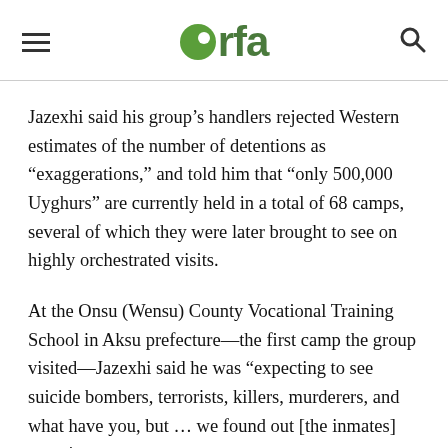rfa
Jazexhi said his group’s handlers rejected Western estimates of the number of detentions as “exaggerations,” and told him that “only 500,000 Uyghurs” are currently held in a total of 68 camps, several of which they were later brought to see on highly orchestrated visits.
At the Onsu (Wensu) County Vocational Training School in Aksu prefecture—the first camp the group visited—Jazexhi said he was “expecting to see suicide bombers, terrorists, killers, murderers, and what have you, but … we found out [the inmates] were innocent